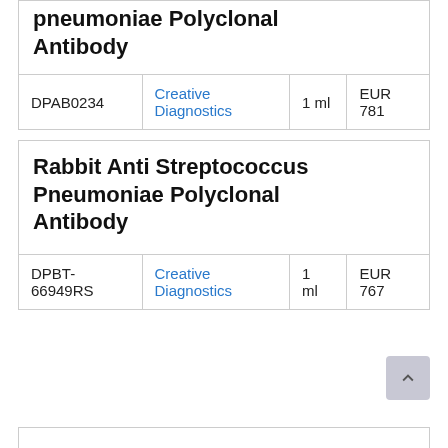pneumoniae Polyclonal Antibody
|  | Supplier | Size | Price |
| --- | --- | --- | --- |
| DPAB0234 | Creative Diagnostics | 1 ml | EUR 781 |
Rabbit Anti Streptococcus Pneumoniae Polyclonal Antibody
|  | Supplier | Size | Price |
| --- | --- | --- | --- |
| DPBT-66949RS | Creative Diagnostics | 1 ml | EUR 767 |